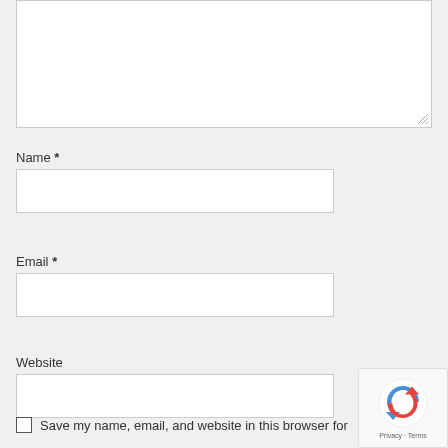[Figure (screenshot): Text area input box with resize handle at bottom-right corner]
Name *
[Figure (screenshot): Name text input field]
Email *
[Figure (screenshot): Email text input field]
Website
[Figure (screenshot): Website text input field]
Save my name, email, and website in this browser for